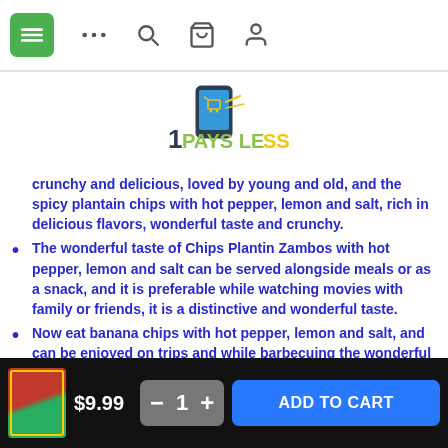Navigation bar with hamburger menu, more options, search, cart, and account icons
[Figure (logo): 1PaysLess logo with shopping cart icon and yellow/green text]
crunchy and delicious, loved by young and old, and the spicy plantain chips with hot pepper, lemon and salt, rich in delicious flavors, wonderful taste and crunchy.
The wonderful taste of Chips Plantin Zambos with hot pepper, lemon and salt can be served alongside meals or as a snack, and it is preferable while watching movies with family or friends, it is a distinctive and wonderful taste.
Now eat banana chips with hot pepper, lemon and salt, and can be enjoyed on trips and while barbecuing the wonderful taste and crunchiness is what makes it distinct from other types of crackers.
$9.99  −  1  +  ADD TO CART